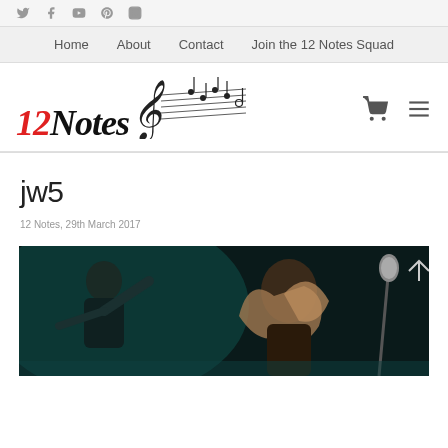Social icons: Twitter, Facebook, YouTube, Pinterest, Instagram
Home  About  Contact  Join the 12 Notes Squad
[Figure (logo): 12Notes logo with musical staff and notes graphic]
jw5
12 Notes, 29th March 2017
[Figure (photo): Concert photo showing a drummer and a female singer with long hair performing on stage with teal/blue lighting]